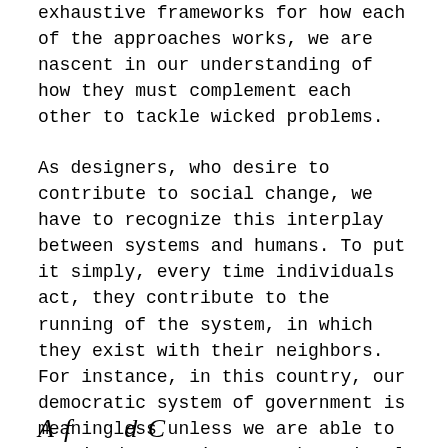exhaustive frameworks for how each of the approaches works, we are nascent in our understanding of how they must complement each other to tackle wicked problems.
As designers, who desire to contribute to social change, we have to recognize this interplay between systems and humans. To put it simply, every time individuals act, they contribute to the running of the system, in which they exist with their neighbors. For instance, in this country, our democratic system of government is meaningless unless we are able to act in democratic ways that signal democracy: the freedom to vote, purchase, and speak as we choose.
A f...